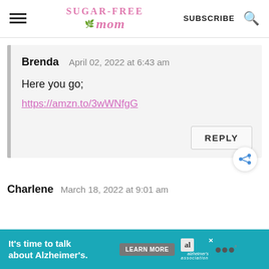Sugar-Free Mom | SUBSCRIBE
Brenda   April 02, 2022 at 6:43 am

Here you go;
https://amzn.to/3wWNfgG
Charlene   March 18, 2022 at 9:01 am
[Figure (screenshot): Advertisement banner: It's time to talk about Alzheimer's. LEARN MORE. Alzheimer's Association logo. WW logo.]